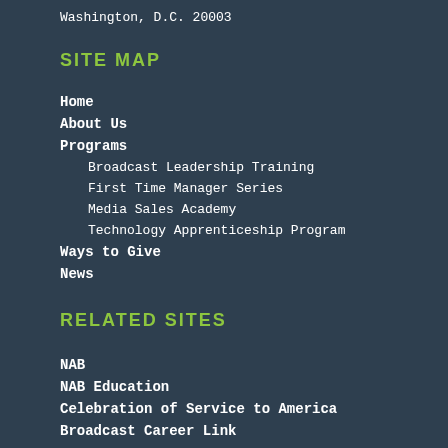Washington, D.C. 20003
SITE MAP
Home
About Us
Programs
Broadcast Leadership Training
First Time Manager Series
Media Sales Academy
Technology Apprenticeship Program
Ways to Give
News
RELATED SITES
NAB
NAB Education
Celebration of Service to America
Broadcast Career Link